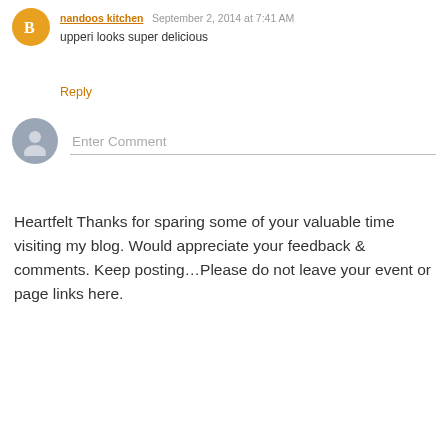nandoos kitchen September 2, 2014 at 7:41 AM
upperi looks super delicious
Reply
Enter Comment
Heartfelt Thanks for sparing some of your valuable time visiting my blog. Would appreciate your feedback & comments. Keep posting…Please do not leave your event or page links here.